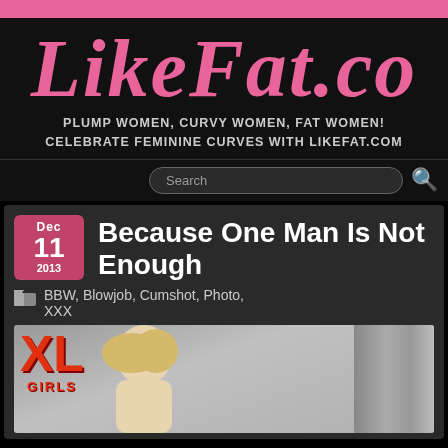LikeFat.com
PLUMP WOMEN, CURVY WOMEN, FAT WOMEN!
CELEBRATE FEMININE CURVES WITH LIKEFAT.COM
Because One Man Is Not Enough
Dec 11 2013
BBW, Blowjob, Cumshot, Photo, XXX
[Figure (photo): Thumbnail image showing XL Girls logo and a blonde woman]